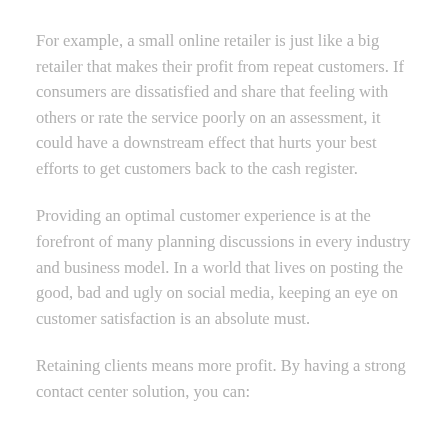For example, a small online retailer is just like a big retailer that makes their profit from repeat customers. If consumers are dissatisfied and share that feeling with others or rate the service poorly on an assessment, it could have a downstream effect that hurts your best efforts to get customers back to the cash register.
Providing an optimal customer experience is at the forefront of many planning discussions in every industry and business model. In a world that lives on posting the good, bad and ugly on social media, keeping an eye on customer satisfaction is an absolute must.
Retaining clients means more profit. By having a strong contact center solution, you can: